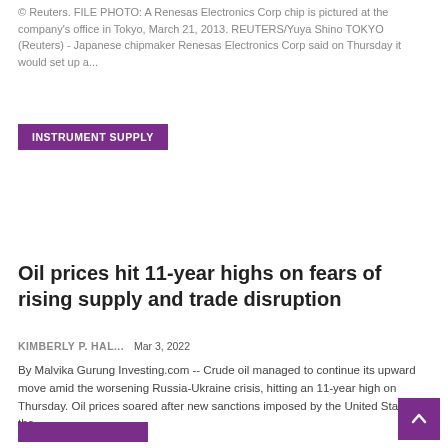© Reuters. FILE PHOTO: A Renesas Electronics Corp chip is pictured at the company's office in Tokyo, March 21, 2013. REUTERS/Yuya Shino TOKYO (Reuters) - Japanese chipmaker Renesas Electronics Corp said on Thursday it would set up a...
INSTRUMENT SUPPLY
Oil prices hit 11-year highs on fears of rising supply and trade disruption
KIMBERLY P. HAL...    Mar 3, 2022
By Malvika Gurung Investing.com -- Crude oil managed to continue its upward move amid the worsening Russia-Ukraine crisis, hitting an 11-year high on Thursday. Oil prices soared after new sanctions imposed by the United States on the...